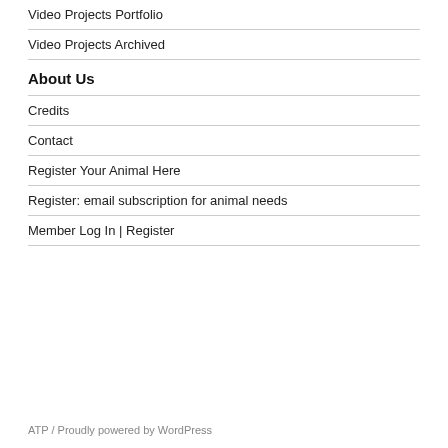Video Projects Portfolio
Video Projects Archived
About Us
Credits
Contact
Register Your Animal Here
Register: email subscription for animal needs
Member Log In | Register
ATP / Proudly powered by WordPress